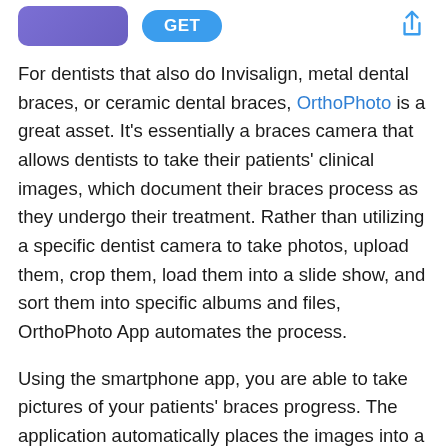[Figure (screenshot): App store header with purple app icon, GET button, and share icon]
For dentists that also do Invisalign, metal dental braces, or ceramic dental braces, OrthoPhoto is a great asset. It's essentially a braces camera that allows dentists to take their patients' clinical images, which document their braces process as they undergo their treatment. Rather than utilizing a specific dentist camera to take photos, upload them, crop them, load them into a slide show, and sort them into specific albums and files, OrthoPhoto App automates the process.
Using the smartphone app, you are able to take pictures of your patients' braces progress. The application automatically places the images into a template that organizes them in the correct format (crop, size, order) and places them in the designated patient file to help you save time and become more efficient.